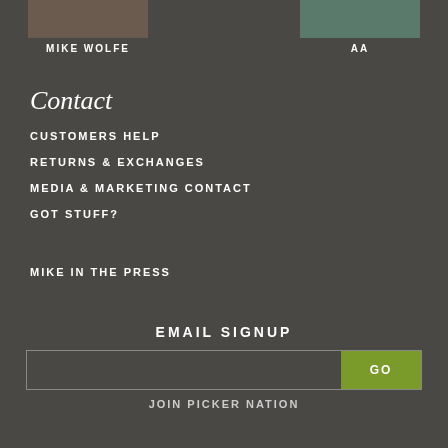[Figure (photo): Two person thumbnail photos at top - Mike Wolfe on left, AA on right]
MIKE WOLFE
AA
Contact
CUSTOMERS HELP
RETURNS & EXCHANGES
MEDIA & MARKETING CONTACT
GOT STUFF?
MIKE IN THE PRESS
EMAIL SIGNUP
JOIN PICKER NATION